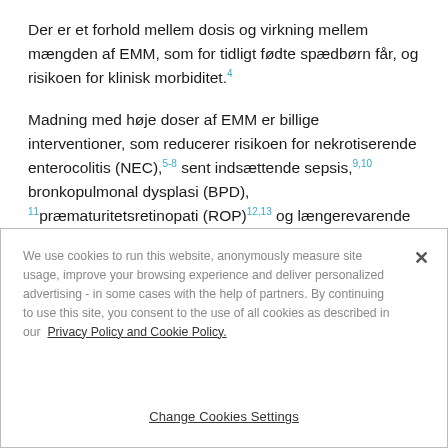Der er et forhold mellem dosis og virkning mellem mængden af EMM, som for tidligt fødte spædbørn får, og risikoen for klinisk morbiditet.4
Madning med høje doser af EMM er billige interventioner, som reducerer risikoen for nekrotiserende enterocolitis (NEC),5-8 sent indsættende sepsis,9,10 bronkopulmonal dysplasi (BPD), 11 præmaturitetsretinopati (ROP)12,13 og længerevarende indlæggelse.13,14
We use cookies to run this website, anonymously measure site usage, improve your browsing experience and deliver personalized advertising - in some cases with the help of partners. By continuing to use this site, you consent to the use of all cookies as described in our Privacy Policy and Cookie Policy.
Change Cookies Settings